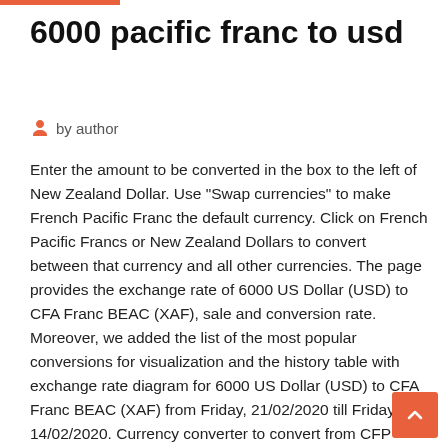6000 pacific franc to usd
by author
Enter the amount to be converted in the box to the left of New Zealand Dollar. Use "Swap currencies" to make French Pacific Franc the default currency. Click on French Pacific Francs or New Zealand Dollars to convert between that currency and all other currencies. The page provides the exchange rate of 6000 US Dollar (USD) to CFA Franc BEAC (XAF), sale and conversion rate. Moreover, we added the list of the most popular conversions for visualization and the history table with exchange rate diagram for 6000 US Dollar (USD) to CFA Franc BEAC (XAF) from Friday, 21/02/2020 till Friday, 14/02/2020. Currency converter to convert from CFP Franc (XPF) to Australian Dollar (AUD) including the latest exchange rates, a chart showing the exchange rate history for  This is the page of Pacific Franc (XPF) to United States Dollar (USD) conversion below you can find the latest exchange rate between them and